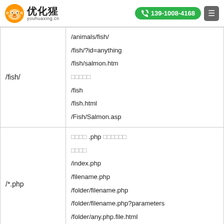优化猿 youhuaxing.cn | 139-1008-4168
| Pattern | Matches |
| --- | --- |
| /fish/ | /animals/fish/
/fish/?id=anything
/fish/salmon.htm
□□□□□
/fish
/fish.html
/Fish/Salmon.asp |
| /*.php | □□□□ .php □□□□□□
□□□□
/index.php
/filename.php
/folder/filename.php
/folder/filename.php?parameters
/folder/any.php.file.html
/filename.php/ |